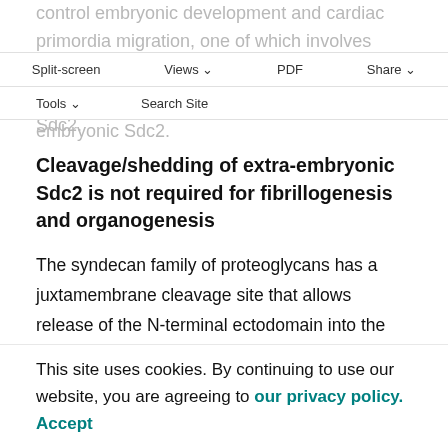control embryonic development and cardiac primordia migration, one of which involves induction of extracellular matrix formation at the YSL-embryo interface by extra-embryonic Sdc2.
Split-screen | Views | PDF | Share
Tools | Search Site
embryonic Sdc2.
Cleavage/shedding of extra-embryonic Sdc2 is not required for fibrillogenesis and organogenesis
The syndecan family of proteoglycans has a juxtamembrane cleavage site that allows release of the N-terminal ectodomain into the extracellular space in a process known as proteoglycan shedding(Fears et al., 2006). This process presumably allows the ectodomain to function at a distance from the cell in which it is
This site uses cookies. By continuing to use our website, you are agreeing to our privacy policy.
Accept
moves along distance from the ectodomain figures in which fibrillogenesis is rescued by YSL-expressed sdc2, a